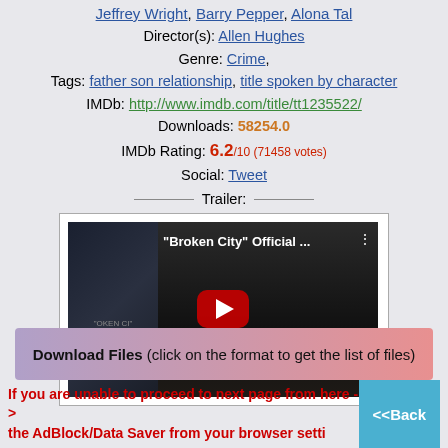Jeffrey Wright, Barry Pepper, Alona Tal
Director(s): Allen Hughes
Genre: Crime,
Tags: father son relationship, title spoken by character
IMDb: http://www.imdb.com/title/tt1235522/
Downloads: 58254.0
IMDb Rating: 6.2/10 (71458 votes)
Social: Tweet
Trailer:
[Figure (screenshot): YouTube video thumbnail for 'Broken City' Official Trailer with play button]
Download Files (click on the format to get the list of files)
If you are unable to proceed to next page from here -> the AdBlock/Data Saver from your browser setti...